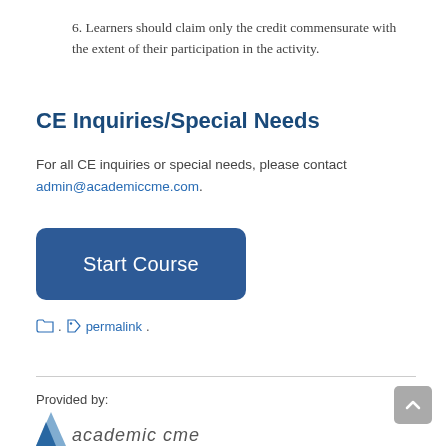6. Learners should claim only the credit commensurate with the extent of their participation in the activity.
CE Inquiries/Special Needs
For all CE inquiries or special needs, please contact admin@academiccme.com.
[Figure (other): Start Course button — a large rounded rectangle in dark blue with white text reading 'Start Course']
. permalink.
Provided by:
[Figure (logo): Academic CME logo — blue triangle icon followed by italic text 'academic cme']